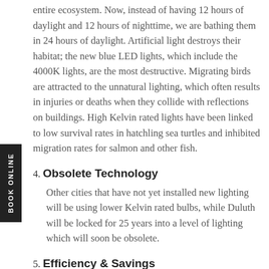entire ecosystem.  Now, instead of having 12 hours of daylight and 12 hours of nighttime, we are bathing them in 24 hours of daylight.  Artificial light destroys their habitat; the new blue LED lights, which include the 4000K lights, are the most destructive.  Migrating birds are attracted to the unnatural lighting, which often results in injuries or deaths when they collide with reflections on buildings.  High Kelvin rated lights have been linked to low survival rates in hatchling sea turtles and inhibited migration rates for salmon and other fish.
4. Obsolete Technology
Other cities that have not yet installed new lighting will be using lower Kelvin rated bulbs, while Duluth will be locked for 25 years into a level of lighting which will soon be obsolete.
5. Efficiency & Savings